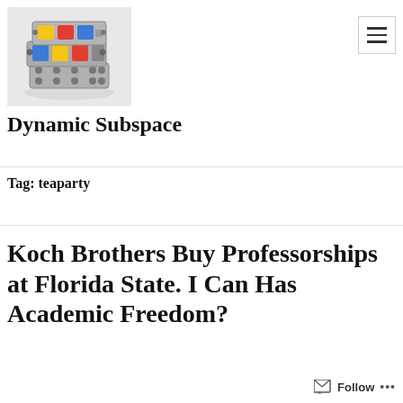[Figure (logo): Mechanical/Lego-style colorful cube object logo image for Dynamic Subspace blog]
[Figure (other): Hamburger menu icon button (three horizontal lines) in a square border]
Dynamic Subspace
Tag: teaparty
Koch Brothers Buy Professorships at Florida State. I Can Has Academic Freedom?